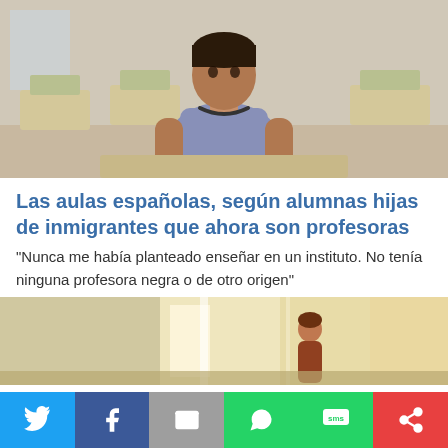[Figure (photo): Woman seated in a classroom with empty chairs and desks in the background]
Las aulas españolas, según alumnas hijas de inmigrantes que ahora son profesoras
"Nunca me había planteado enseñar en un instituto. No tenía ninguna profesora negra o de otro origen"
[Figure (photo): Person standing in a bright corridor or hallway]
Este sitio web utiliza cookies propias y de terceros para mejorar su experiencia de navegación y realizar tareas de analítica. Por favor, haga clic en el botón para aceptar nuestra Política de
[Figure (infographic): Social share bar with Twitter, Facebook, Email, WhatsApp, SMS, and other sharing buttons]